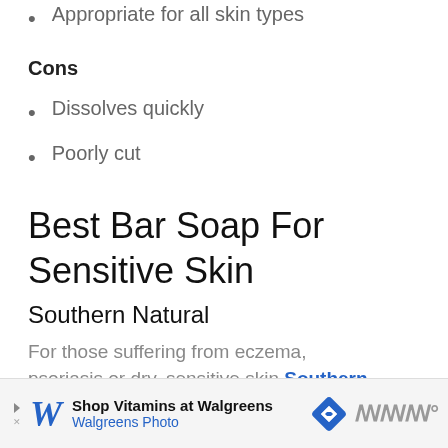Appropriate for all skin types
Cons
Dissolves quickly
Poorly cut
Best Bar Soap For Sensitive Skin
Southern Natural
For those suffering from eczema, psoriasis or dry, sensitive skin Southern
[Figure (other): Walgreens advertisement banner: Shop Vitamins at Walgreens – Walgreens Photo, with Walgreens logo, navigation arrow icon, and sound/audio icon]